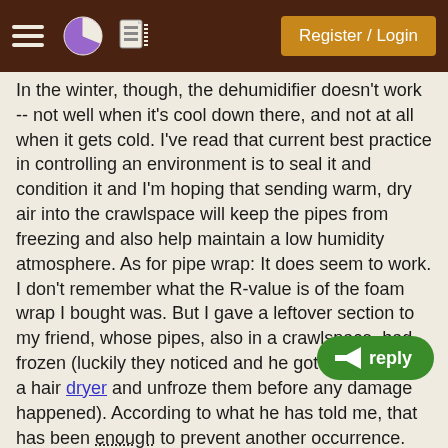Register / Login
In the winter, though, the dehumidifier doesn't work -- not well when it's cool down there, and not at all when it gets cold. I've read that current best practice in controlling an environment is to seal it and condition it and I'm hoping that sending warm, dry air into the crawlspace will keep the pipes from freezing and also help maintain a low humidity atmosphere. As for pipe wrap: It does seem to work. I don't remember what the R-value is of the foam wrap I bought was. But I gave a leftover section to my friend, whose pipes, also in a crawlspace, had frozen (luckily they noticed and he got in there with a hair dryer and unfroze them before any damage happened). According to what he has told me, that has been enough to prevent another occurrence. I'm just more paranoid. That paranoia has also put me off heat tape.

I though about adding an L just to meet t but that would add a lot of bulk to the installation. Admittedly it's just a crawlspace and no one goes down
[Figure (screenshot): Reply button (green pill-shaped button with back arrow icon and text 'reply')]